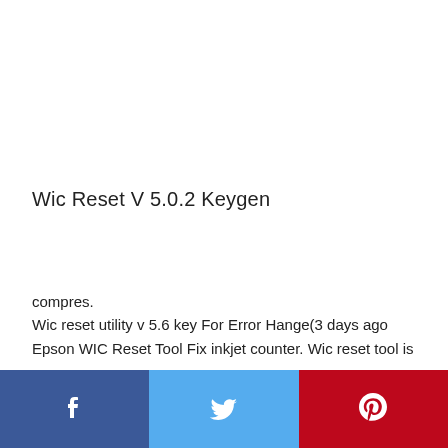Wic Reset V 5.0.2 Keygen
compres.
Wic reset utility v 5.6 key For Error Hange(3 days ago Epson WIC Reset Tool Fix inkjet counter. Wic reset tool is a 100% free utility tool that can reset the waste ink counter in your Epson printer or give backup paper the
[Figure (other): Social sharing bar at the bottom with Facebook (blue), Twitter (light blue), and Pinterest (red) buttons with white icons]